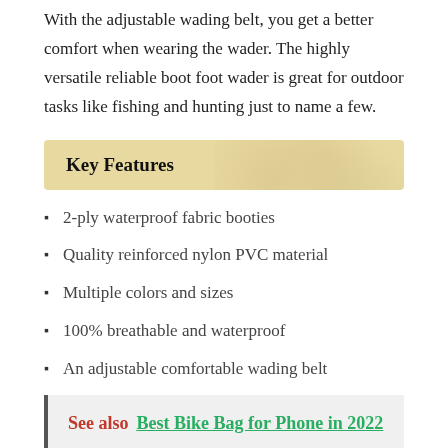With the adjustable wading belt, you get a better comfort when wearing the wader. The highly versatile reliable boot foot wader is great for outdoor tasks like fishing and hunting just to name a few.
Key Features
2-ply waterproof fabric booties
Quality reinforced nylon PVC material
Multiple colors and sizes
100% breathable and waterproof
An adjustable comfortable wading belt
See also  Best Bike Bag for Phone in 2022
OXYVAN Wader Waterproof Lightweight Fishing Wader